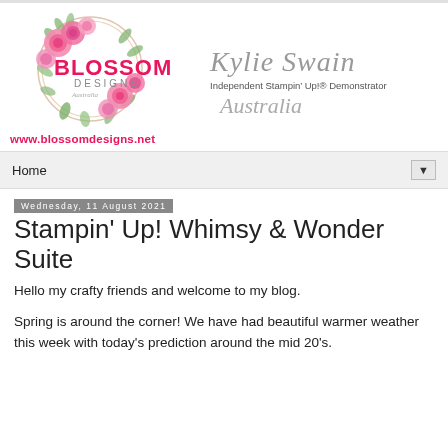[Figure (logo): Blossom Designs logo with pink floral wreath and pink text]
www.blossomdesigns.net
[Figure (illustration): Kylie Swain signature in cursive script, Independent Stampin' Up!® Demonstrator, Australia]
Home ▼
Wednesday, 11 August 2021
Stampin' Up! Whimsy & Wonder Suite
Hello my crafty friends and welcome to my blog.
Spring is around the corner! We have had beautiful warmer weather this week with today's prediction around the mid 20's.